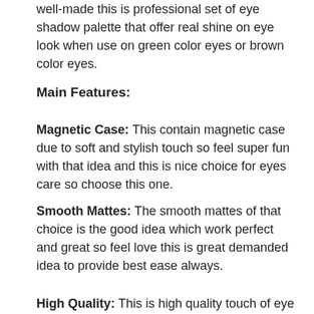well-made this is professional set of eye shadow palette that offer real shine on eye look when use on green color eyes or brown color eyes.
Main Features:
Magnetic Case: This contain magnetic case due to soft and stylish touch so feel super fun with that idea and this is nice choice for eyes care so choose this one.
Smooth Mattes: The smooth mattes of that choice is the good idea which work perfect and great so feel love this is great demanded idea to provide best ease always.
High Quality: This is high quality touch of eye